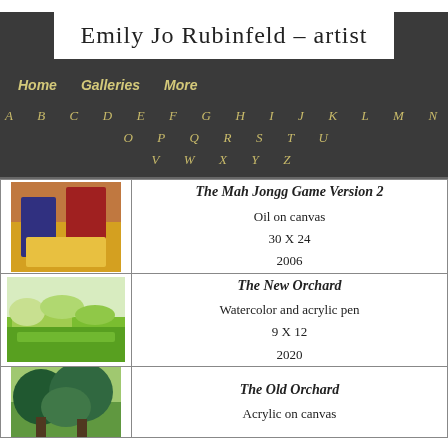Emily Jo Rubinfeld – artist
Home   Galleries   More
A B C D E F G H I J K L M N O P Q R S T U V W X Y Z
| Image | Details |
| --- | --- |
| [painting: two figures at table] | The Mah Jongg Game Version 2
Oil on canvas
30 X 24
2006 |
| [landscape watercolor] | The New Orchard
Watercolor and acrylic pen
9 X 12
2020 |
| [trees painting] | The Old Orchard
Acrylic on canvas |